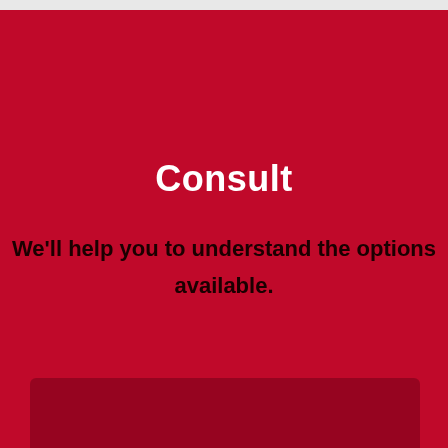Consult
We'll help you to understand the options available.
[Figure (illustration): Dark reddish-brown rectangular panel at the bottom of the page, partially visible, suggesting a photo or image card beneath the main content.]